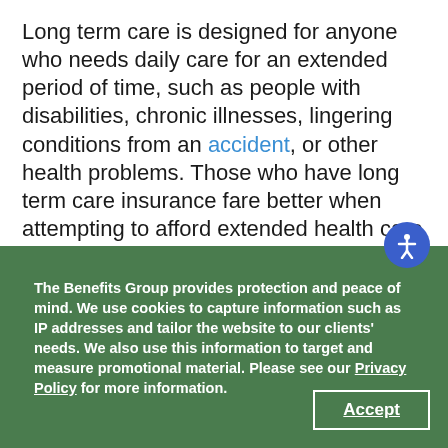Long term care is designed for anyone who needs daily care for an extended period of time, such as people with disabilities, chronic illnesses, lingering conditions from an accident, or other health problems. Those who have long term care insurance fare better when attempting to afford extended health care at an advanced age, while those who do not have coverage must rely on Medicaid or general savings.
Long term care needs will vary from person to
The Benefits Group provides protection and peace of mind. We use cookies to capture information such as IP addresses and tailor the website to our clients' needs. We also use this information to target and measure promotional material. Please see our Privacy Policy for more information.